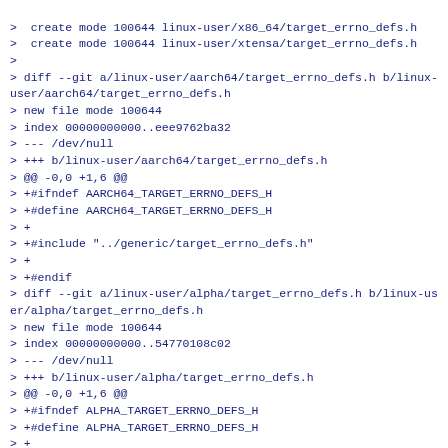>  create mode 100644 linux-user/x86_64/target_errno_defs.h
>  create mode 100644 linux-user/xtensa/target_errno_defs.h
>
> diff --git a/linux-user/aarch64/target_errno_defs.h b/linux-user/aarch64/target_errno_defs.h
> new file mode 100644
> index 00000000000..eee9762ba32
> --- /dev/null
> +++ b/linux-user/aarch64/target_errno_defs.h
> @@ -0,0 +1,6 @@
> +#ifndef AARCH64_TARGET_ERRNO_DEFS_H
> +#define AARCH64_TARGET_ERRNO_DEFS_H
> +
> +#include "../generic/target_errno_defs.h"
> +
> +#endif
> diff --git a/linux-user/alpha/target_errno_defs.h b/linux-user/alpha/target_errno_defs.h
> new file mode 100644
> index 00000000000..54770108c02
> --- /dev/null
> +++ b/linux-user/alpha/target_errno_defs.h
> @@ -0,0 +1,6 @@
> +#ifndef ALPHA_TARGET_ERRNO_DEFS_H
> +#define ALPHA_TARGET_ERRNO_DEFS_H
> +
> +#include "../generic/target_errno_defs.h"
> +